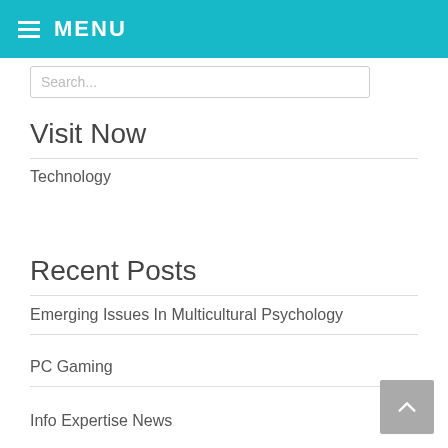MENU
Search...
Visit Now
Technology
Recent Posts
Emerging Issues In Multicultural Psychology
PC Gaming
Info Expertise News